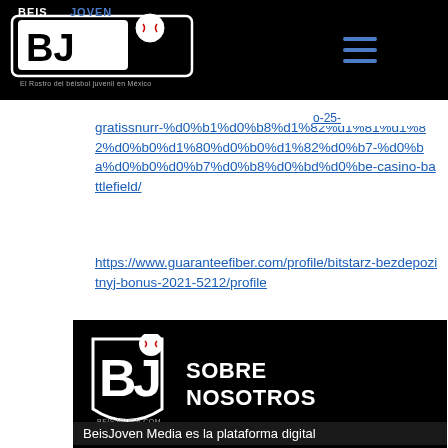[Figure (logo): BeisJoven logo on black navigation bar - white and black baseball themed logo with text 'El Rostro del béisbol juvenil en México']
rofile
arz-
o-25-
gratissnurr-%d0%b1%d0%b8%d1%82%d1%81%d1%82%d0%b0%d1%80%d0%b0%d1%82%d0%b7-%d0%ba%d0%b0%d0%b7%d0%b8%d0%bd%d0%be-battlefield/
https://www.guaranteefiber.com/profile/bitstarz-bezdepozitnyj-bonus-2021-5212/profile
[Figure (logo): BeisJoven BJ logo on dark background with text SOBRE NOSOTROS]
BeisJoven Media es la plataforma digital